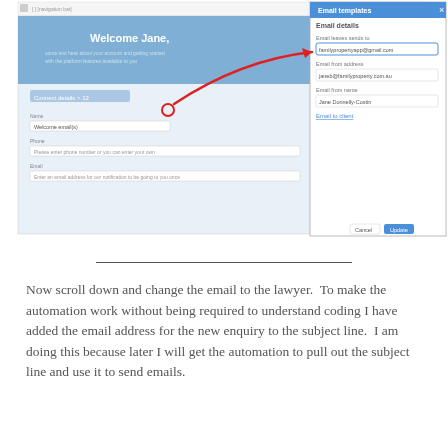[Figure (screenshot): Screenshot of a web application showing a 'Welcome Jane' dashboard on the left, and an 'Email templates' dialog on the right with fields for 'Email leaves sends to' (familypropertyapp@gmail.com), 'Email from address' (janeb@familyproperty.com.au), and 'Email from name' (Jane Donnelly-Costin), plus an 'Email to client' link and Cancel/Update buttons. A red arrow annotation points from a cursor on the left panel to the email field on the right.]
Now scroll down and change the email to the lawyer.  To make the automation work without being required to understand coding I have added the email address for the new enquiry to the subject line.  I am doing this because later I will get the automation to pull out the subject line and use it to send emails.